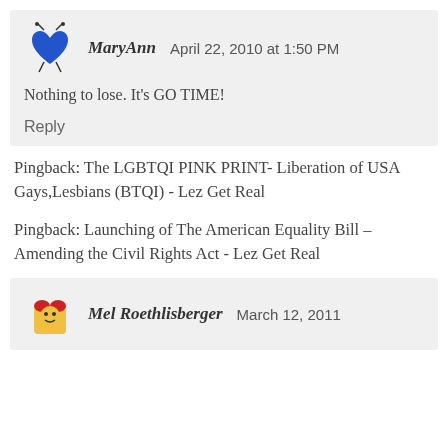[Figure (illustration): Blue cartoon heart avatar with antennae for user MaryAnn]
MaryAnn   April 22, 2010 at 1:50 PM
Nothing to lose. It's GO TIME!
Reply
Pingback: The LGBTQI PINK PRINT- Liberation of USA Gays,Lesbians (BTQI) - Lez Get Real
Pingback: Launching of The American Equality Bill – Amending the Civil Rights Act - Lez Get Real
[Figure (illustration): Yellow cartoon character with red hat avatar for user Mel Roethlisberger]
Mel Roethlisberger   March 12, 2011